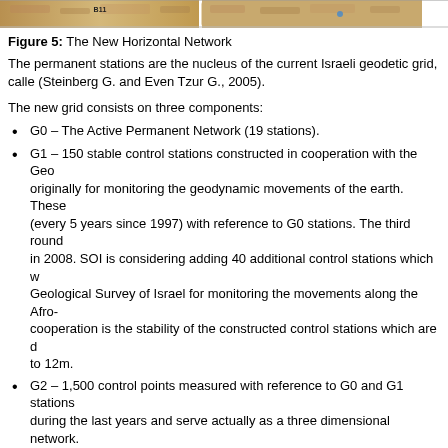[Figure (map): Strip of map images showing the New Horizontal Network]
Figure 5: The New Horizontal Network
The permanent stations are the nucleus of the current Israeli geodetic grid, called (Steinberg G. and Even Tzur G., 2005).
The new grid consists on three components:
G0 – The Active Permanent Network (19 stations).
G1 – 150 stable control stations constructed in cooperation with the Geo originally for monitoring the geodynamic movements of the earth. These (every 5 years since 1997) with reference to G0 stations. The third round in 2008. SOI is considering adding 40 additional control stations which w Geological Survey of Israel for monitoring the movements along the Afro- cooperation is the stability of the constructed control stations which are d to 12m.
G2 – 1,500 control points measured with reference to G0 and G1 stations during the last years and serve actually as a three dimensional network.
These points define the formal national geodetic reference system, and are of hi
Additional control points will also be incorporated in the new geodetic data base. by private surveyors and controlled and certified by the SOI. They are denoted a